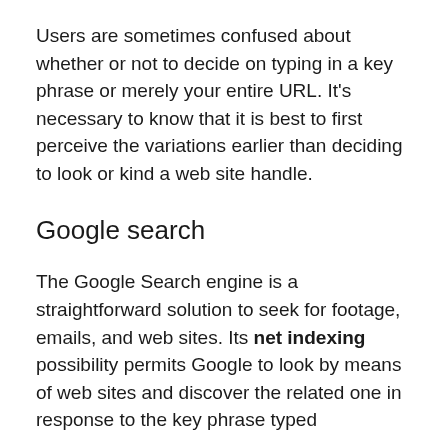Users are sometimes confused about whether or not to decide on typing in a key phrase or merely your entire URL. It's necessary to know that it is best to first perceive the variations earlier than deciding to look or kind a web site handle.
Google search
The Google Search engine is a straightforward solution to seek for footage, emails, and web sites. Its net indexing possibility permits Google to look by means of web sites and discover the related one in response to the key phrase typed